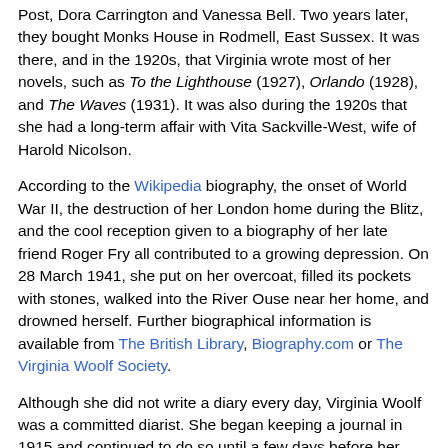Post, Dora Carrington and Vanessa Bell. Two years later, they bought Monks House in Rodmell, East Sussex. It was there, and in the 1920s, that Virginia wrote most of her novels, such as To the Lighthouse (1927), Orlando (1928), and The Waves (1931). It was also during the 1920s that she had a long-term affair with Vita Sackville-West, wife of Harold Nicolson.
According to the Wikipedia biography, the onset of World War II, the destruction of her London home during the Blitz, and the cool reception given to a biography of her late friend Roger Fry all contributed to a growing depression. On 28 March 1941, she put on her overcoat, filled its pockets with stones, walked into the River Ouse near her home, and drowned herself. Further biographical information is available from The British Library, Biography.com or The Virginia Woolf Society.
Although she did not write a diary every day, Virginia Woolf was a committed diarist. She began keeping a journal in 1915 and continued to do so until a few days before her death. Extracts were published for the first time in A Writer's Diary by The Hogarth Press in 1953. The content...